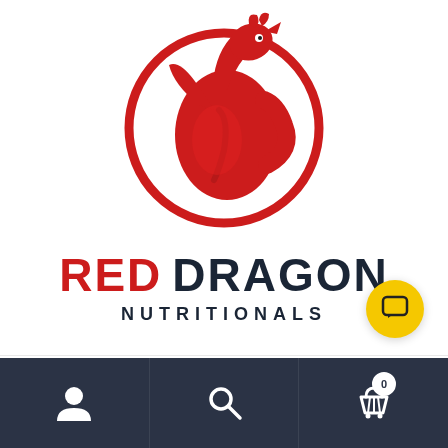[Figure (logo): Red Dragon Nutritionals logo — a red dragon inside a red circle above the brand name RED DRAGON NUTRITIONALS]
[Figure (screenshot): Mobile app bottom navigation bar with user account, search, and shopping cart (badge showing 0) icons on a dark navy background, plus a yellow chat bubble button floating above]